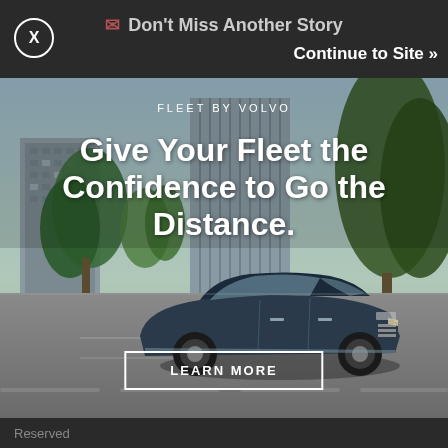Don't Miss Another Story   Continue to Site »
[Figure (photo): Volvo XC90 SUV driving on a city street with trees and a modern building in background. Fleet by Volvo advertisement.]
FLEET BY VOLVO
Give Your Fleet the Confidence to Go the Distance.
LEARN MORE
Reserved